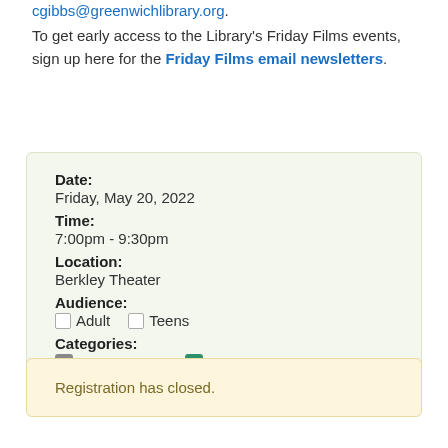cgibbs@greenwichlibrary.org.
To get early access to the Library's Friday Films events, sign up here for the Friday Films email newsletters.
| Date: | Friday, May 20, 2022 |
| Time: | 7:00pm - 9:30pm |
| Location: | Berkley Theater |
| Audience: | Adult  Teens |
| Categories: | Films and TV  Friends |
Registration has closed.